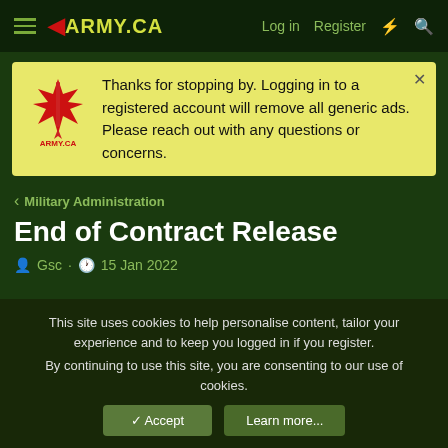ARMY.CA — Log in | Register
Thanks for stopping by. Logging in to a registered account will remove all generic ads. Please reach out with any questions or concerns.
< Military Administration
End of Contract Release
Gsc · 15 Jan 2022
MJP
Army.ca Veteran
This site uses cookies to help personalise content, tailor your experience and to keep you logged in if you register. By continuing to use this site, you are consenting to our use of cookies.